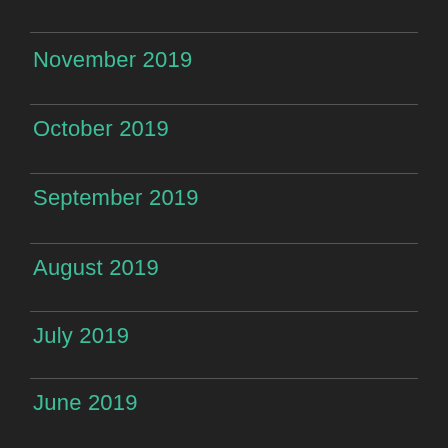November 2019
October 2019
September 2019
August 2019
July 2019
June 2019
May 2019
April 2019